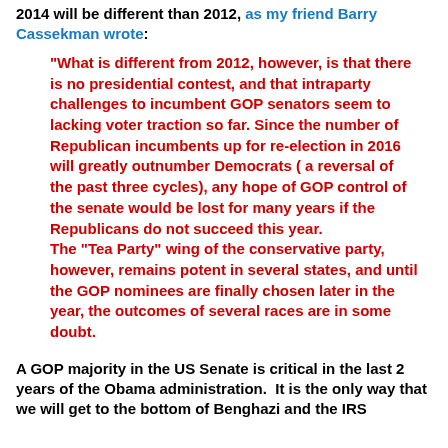2014 will be different than 2012, as my friend Barry Cassekman wrote:
"What is different from 2012, however, is that there is no presidential contest, and that intraparty challenges to incumbent GOP senators seem to lacking voter traction so far. Since the number of Republican incumbents up for re-election in 2016 will greatly outnumber Democrats ( a reversal of the past three cycles), any hope of GOP control of the senate would be lost for many years if the Republicans do not succeed this year. The "Tea Party" wing of the conservative party, however, remains potent in several states, and until the GOP nominees are finally chosen later in the year, the outcomes of several races are in some doubt.
A GOP majority in the US Senate is critical in the last 2 years of the Obama administration.  It is the only way that we will get to the bottom of Benghazi and the IRS